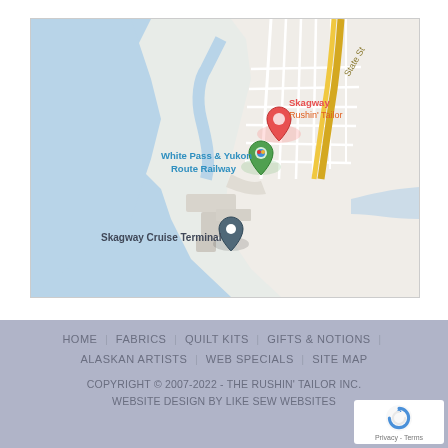[Figure (map): Google Maps view of Skagway, Alaska showing Rushin' Tailor location, White Pass & Yukon Route Railway, and Skagway Cruise Terminal with map pin markers]
HOME | FABRICS | QUILT KITS | GIFTS & NOTIONS | ALASKAN ARTISTS | WEB SPECIALS | SITE MAP
COPYRIGHT © 2007-2022 - THE RUSHIN' TAILOR INC.
WEBSITE DESIGN BY LIKE SEW WEBSITES